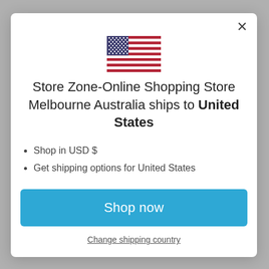[Figure (illustration): US flag emoji/icon centered at top of modal dialog]
Store Zone-Online Shopping Store Melbourne Australia ships to United States
Shop in USD $
Get shipping options for United States
Shop now
Change shipping country